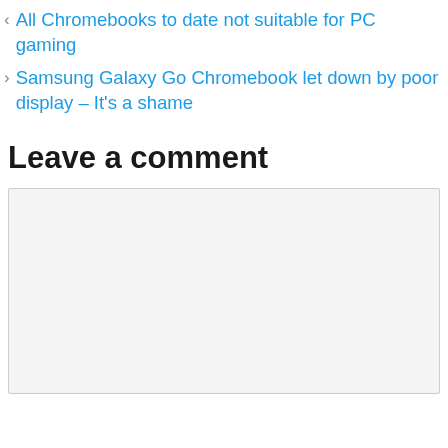‹ All Chromebooks to date not suitable for PC gaming
› Samsung Galaxy Go Chromebook let down by poor display – It's a shame
Leave a comment
[Figure (screenshot): Empty comment text area input box with light gray background and border]